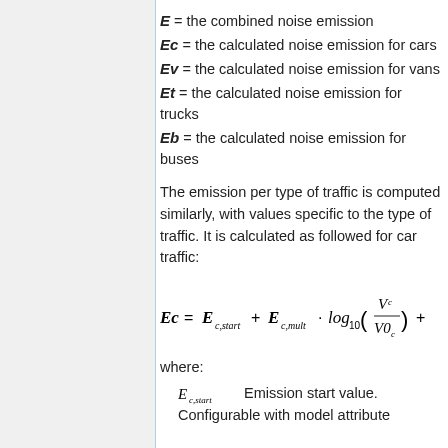E = the combined noise emission
Ec = the calculated noise emission for cars
Ev = the calculated noise emission for vans
Et = the calculated noise emission for trucks
Eb = the calculated noise emission for buses
The emission per type of traffic is computed similarly, with values specific to the type of traffic. It is calculated as followed for car traffic:
where:
E_{c,start} Emission start value. Configurable with model attribute